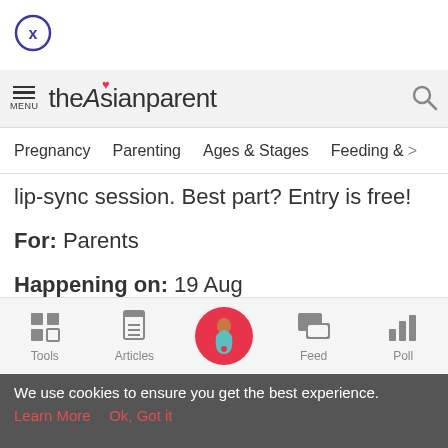[Figure (logo): Close button circle with X]
theAsianparent — MENU and search icon header
Pregnancy  Parenting  Ages & Stages  Feeding & >
lip-sync session. Best part? Entry is free!
For: Parents
Happening on: 19 Aug
Tools  Articles  [Home]  Feed  Poll
We use cookies to ensure you get the best experience. Learn More  Ok, Got it